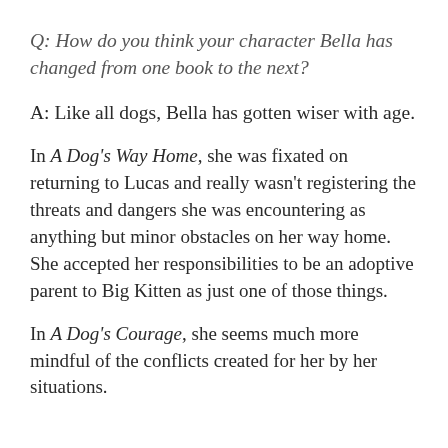Q: How do you think your character Bella has changed from one book to the next?
A: Like all dogs, Bella has gotten wiser with age.
In A Dog's Way Home, she was fixated on returning to Lucas and really wasn't registering the threats and dangers she was encountering as anything but minor obstacles on her way home. She accepted her responsibilities to be an adoptive parent to Big Kitten as just one of those things.
In A Dog's Courage, she seems much more mindful of the conflicts created for her by her situations.